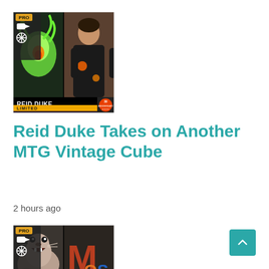[Figure (illustration): MTG card thumbnail featuring Reid Duke - split image showing a glowing green creature on the left and Reid Duke on the right, with 'REID DUKE' text at bottom in white on black bar, 'LIMITED' label in gold below, PRO badge and video/snowflake icons in top-left corner]
Reid Duke Takes on Another MTG Vintage Cube
2 hours ago
[Figure (illustration): MTG card thumbnail featuring a roaring sea lion/walrus creature on the left and MTG Online (MTGO) colorful logo on the right, with 'MTG DATA SCIENCE' text at bottom in white on black bar, PRO badge and video/snowflake icons in top-left corner]